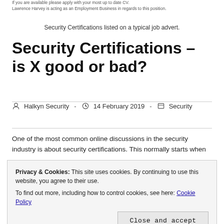If you are available please apply with your most up to date CV.
Lawrence Harvey is acting as an Employment Business in regards to this position.
Security Certifications listed on a typical job advert.
Security Certifications – is X good or bad?
Halkyn Security  ·  14 February 2019  ·  Security
One of the most common online discussions in the security industry is about security certifications. This normally starts when
Privacy & Cookies: This site uses cookies. By continuing to use this website, you agree to their use.
To find out more, including how to control cookies, see here: Cookie Policy
security is a very broad field, you can find amazing practitioners